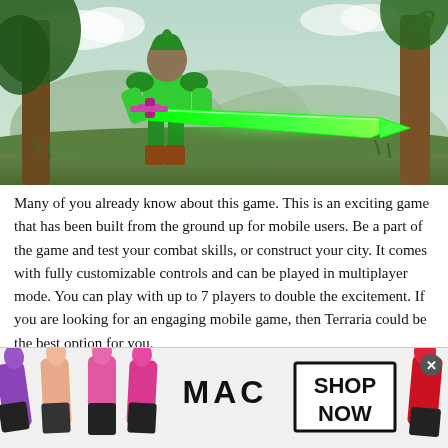[Figure (illustration): A green-armored fantasy warrior character holding a large glowing green sword, standing in a lush forest landscape with trees and hills in the background.]
Many of you already know about this game. This is an exciting game that has been built from the ground up for mobile users. Be a part of the game and test your combat skills, or construct your city. It comes with fully customizable controls and can be played in multiplayer mode. You can play with up to 7 players to double the excitement. If you are looking for an engaging mobile game, then Terraria could be the best option for you.
[Figure (advertisement): MAC cosmetics advertisement banner showing multiple lipsticks in purple, pink, and red colors with MAC logo text and a SHOP NOW button.]